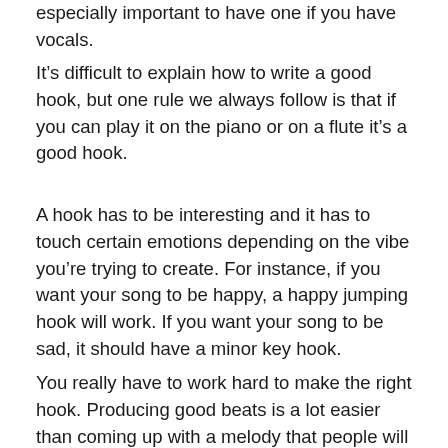especially important to have one if you have vocals.
It’s difficult to explain how to write a good hook, but one rule we always follow is that if you can play it on the piano or on a flute it’s a good hook.
A hook has to be interesting and it has to touch certain emotions depending on the vibe you’re trying to create. For instance, if you want your song to be happy, a happy jumping hook will work. If you want your song to be sad, it should have a minor key hook.
You really have to work hard to make the right hook. Producing good beats is a lot easier than coming up with a melody that people will remember. Sometimes even we struggle with hooks and work with song writers to help us out.